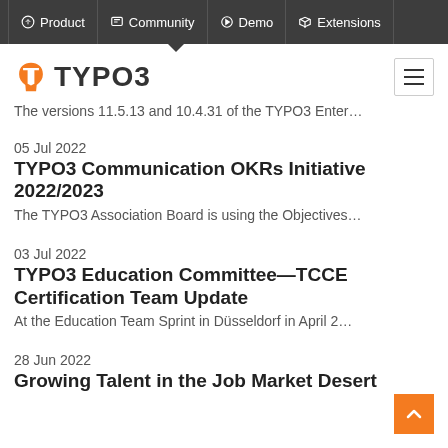Product | Community | Demo | Extensions
[Figure (logo): TYPO3 logo with orange icon and TYPO3 text, plus hamburger menu button]
The versions 11.5.13 and 10.4.31 of the TYPO3 Enter…
05 Jul 2022
TYPO3 Communication OKRs Initiative 2022/2023
The TYPO3 Association Board is using the Objectives…
03 Jul 2022
TYPO3 Education Committee—TCCE Certification Team Update
At the Education Team Sprint in Düsseldorf in April 2…
28 Jun 2022
Growing Talent in the Job Market Desert